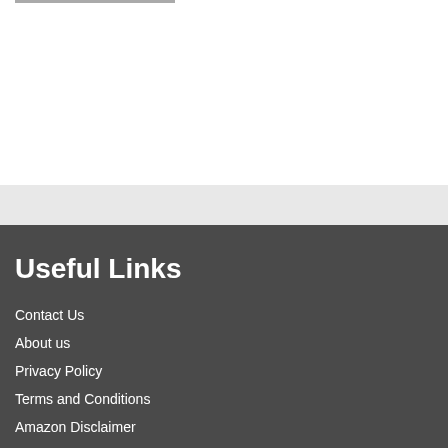Useful Links
Contact Us
About us
Privacy Policy
Terms and Conditions
Amazon Disclaimer
DMCA / Copyrights Disclaimer